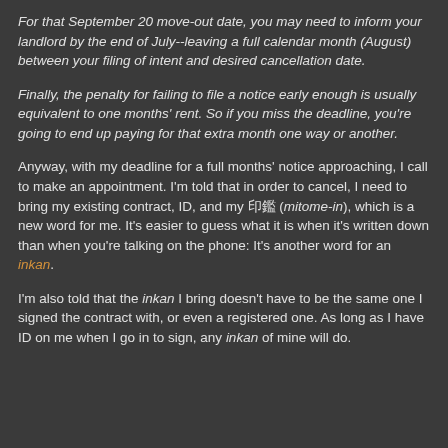For that September 20 move-out date, you may need to inform your landlord by the end of July--leaving a full calendar month (August) between your filing of intent and desired cancellation date.
Finally, the penalty for failing to file a notice early enough is usually equivalent to one months' rent. So if you miss the deadline, you're going to end up paying for that extra month one way or another.
Anyway, with my deadline for a full months' notice approaching, I call to make an appointment. I'm told that in order to cancel, I need to bring my existing contract, ID, and my 印鑑 (mitome-in), which is a new word for me. It's easier to guess what it is when it's written down than when you're talking on the phone: It's another word for an inkan.
I'm also told that the inkan I bring doesn't have to be the same one I signed the contract with, or even a registered one. As long as I have ID on me when I go in to sign, any inkan of mine will do.